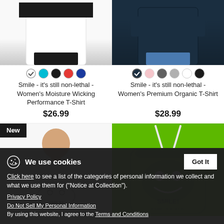[Figure (photo): Women's white moisture wicking performance t-shirt product photo, top cropped]
[Figure (photo): Women's dark navy premium organic t-shirt product photo, top cropped]
Smile - it's still non-lethal - Women's Moisture Wicking Performance T-Shirt
$26.99
Smile - it's still non-lethal - Women's Premium Organic T-Shirt
$28.99
New
[Figure (photo): Man wearing white t-shirt with SMILE graphic, partially visible]
[Figure (photo): Green drawstring bag with SMILE graphic]
We use cookies
Click here to see a list of the categories of personal information we collect and what we use them for ("Notice at Collection").
Got It
Privacy Policy
Do Not Sell My Personal Information
By using this website, I agree to the Terms and Conditions
Smile - it's still non-lethal -
Smile - it's still non-lethal -